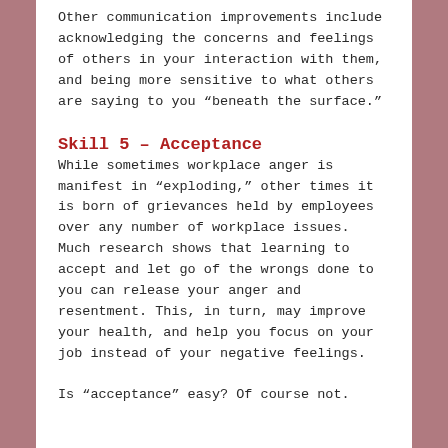Other communication improvements include acknowledging the concerns and feelings of others in your interaction with them, and being more sensitive to what others are saying to you “beneath the surface.”
Skill 5 – Acceptance
While sometimes workplace anger is manifest in “exploding,” other times it is born of grievances held by employees over any number of workplace issues. Much research shows that learning to accept and let go of the wrongs done to you can release your anger and resentment. This, in turn, may improve your health, and help you focus on your job instead of your negative feelings.
Is “acceptance” easy? Of course not.